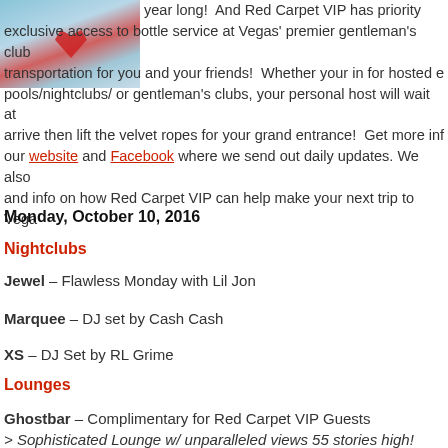[Figure (photo): Red Carpet VIP promotional image with water/pool and red heart motif]
year long!  And Red Carpet VIP has priority exclusive access to bottle service at Vegas' premier gentleman's club transportation for you and your friends!  Whether your in for hosted e pools/nightclubs/ or gentleman's clubs, your personal host will wait at arrive then lift the velvet ropes for your grand entrance!  Get more inf our website and Facebook where we send out daily updates. We also and info on how Red Carpet VIP can help make your next trip to Vega
Monday, October 10, 2016
Nightclubs
Jewel – Flawless Monday with Lil Jon
Marquee – DJ set by Cash Cash
XS – DJ Set by RL Grime
Lounges
Ghostbar – Complimentary for Red Carpet VIP Guests
> Sophisticated Lounge w/ unparalleled views 55 stories high!
Foundation Room – Complimentary for Red Carpet VIP Guests
> Exotic Ultra Lounge atop of Mandalay Bay! Open Vodka/Champag
Tuesday, October 11, 2016